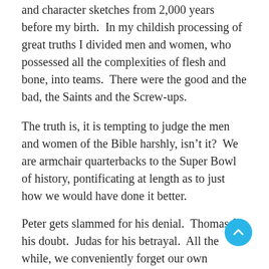and character sketches from 2,000 years before my birth.  In my childish processing of great truths I divided men and women, who possessed all the complexities of flesh and bone, into teams.  There were the good and the bad, the Saints and the Screw-ups.
The truth is, it is tempting to judge the men and women of the Bible harshly, isn't it?  We are armchair quarterbacks to the Super Bowl of history, pontificating at length as to just how we would have done it better.
Peter gets slammed for his denial.  Thomas for his doubt.  Judas for his betrayal.  All the while, we conveniently forget our own tendencies to walk in